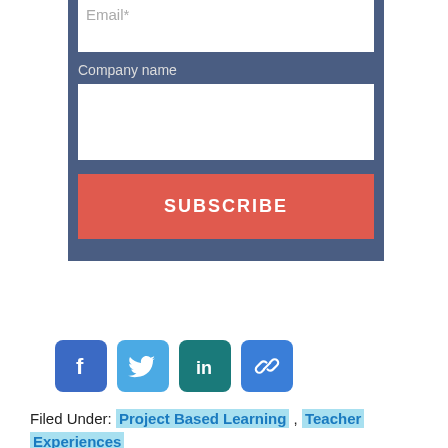Email*
Company name
SUBSCRIBE
[Figure (infographic): Four social media icon buttons: Facebook (blue), Twitter (light blue), LinkedIn (teal), and a chain/link icon (blue)]
Filed Under: Project Based Learning , Teacher Experiences
First Name *